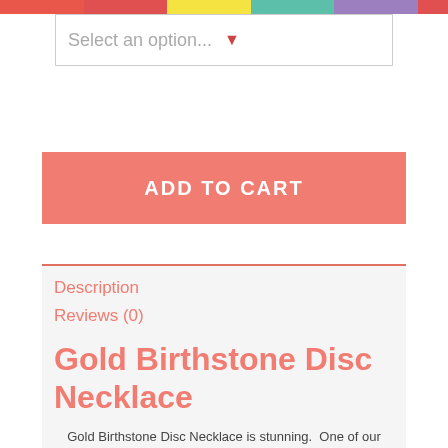[Figure (other): Decorative color bar strip at top with pink, red, yellow, teal, purple, and red segments]
Select an option...
ADD TO CART
Description
Reviews (0)
Gold Birthstone Disc Necklace
Gold Birthstone Disc Necklace is stunning.  One of our best selling mommy necklaces.  The mommy necklace is 18K Yellow Gold Plated.  Gold Birthstone Disc Necklace for mom looks